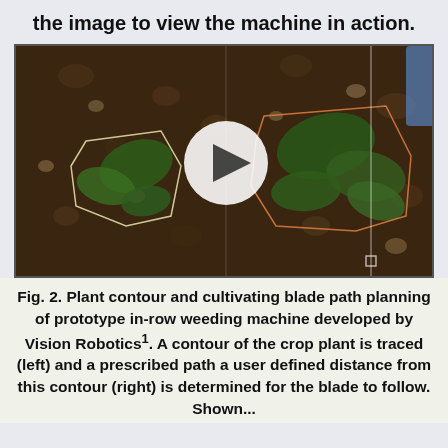the image to view the machine in action.
[Figure (screenshot): Video thumbnail showing overhead view of soil with plant seedlings and contour outlines drawn around them, with a white play button overlay in the center. Lines show cultivating blade path planning.]
Fig. 2. Plant contour and cultivating blade path planning of prototype in-row weeding machine developed by Vision Robotics1. A contour of the crop plant is traced (left) and a prescribed path a user defined distance from this contour (right) is determined for the blade to follow. Shown...